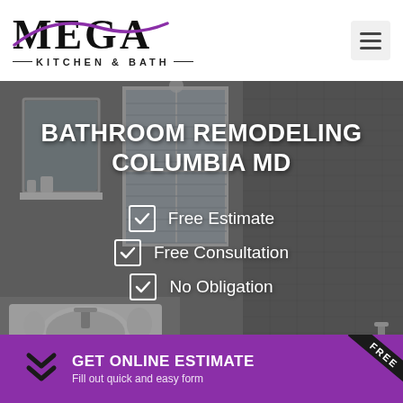[Figure (logo): MEGA Kitchen & Bath logo with stylized purple swoosh]
[Figure (photo): Modern bathroom interior with grey tile walls, window, freestanding tub, and vanity sink]
BATHROOM REMODELING COLUMBIA MD
Free Estimate
Free Consultation
No Obligation
GET ONLINE ESTIMATE
Fill out quick and easy form